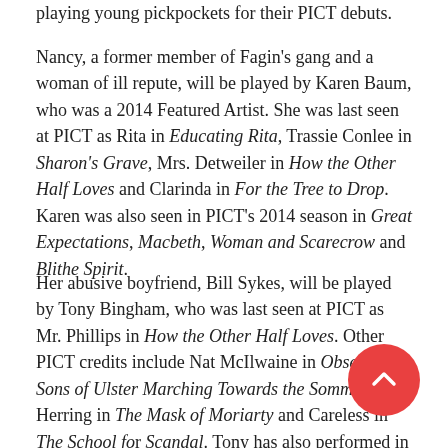playing young pickpockets for their PICT debuts.
Nancy, a former member of Fagin's gang and a woman of ill repute, will be played by Karen Baum, who was a 2014 Featured Artist. She was last seen at PICT as Rita in Educating Rita, Trassie Conlee in Sharon's Grave, Mrs. Detweiler in How the Other Half Loves and Clarinda in For the Tree to Drop. Karen was also seen in PICT's 2014 season in Great Expectations, Macbeth, Woman and Scarecrow and Blithe Spirit.
Her abusive boyfriend, Bill Sykes, will be played by Tony Bingham, who was last seen at PICT as Mr. Phillips in How the Other Half Loves. Other PICT credits include Nat McIlwaine in Observe the Sons of Ulster Marching Towards the Somme, Herring in The Mask of Moriarty and Careless in The School for Scandal. Tony has also performed in Pittsburgh CLO Cabaret, The Rep, Pittsburgh Public Theatre, Off the Wall Theatre.